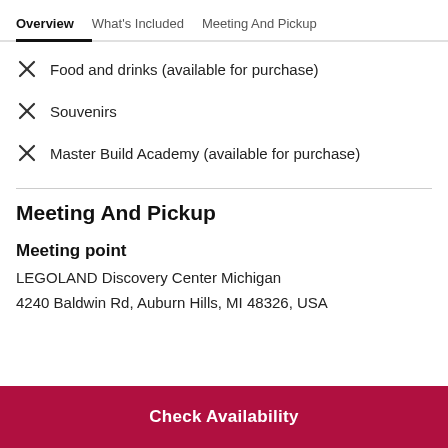Overview | What's Included | Meeting And Pickup
Food and drinks (available for purchase)
Souvenirs
Master Build Academy (available for purchase)
Meeting And Pickup
Meeting point
LEGOLAND Discovery Center Michigan
4240 Baldwin Rd, Auburn Hills, MI 48326, USA
Check Availability